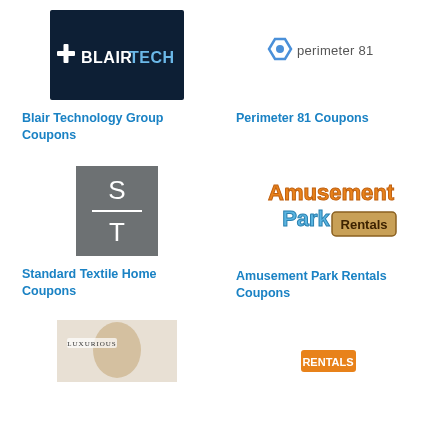[Figure (logo): Blair Technology Group logo – white cross icon and BLAIRTECH text on dark navy background]
Blair Technology Group Coupons
[Figure (logo): Perimeter 81 logo – blue hexagon icon with 'perimeter 81' text]
Perimeter 81 Coupons
[Figure (logo): Standard Textile Home logo – grey box with S and T letters separated by horizontal line]
Standard Textile Home Coupons
[Figure (logo): Amusement Park Rentals logo – orange and blue stylized text with wooden sign reading Rentals]
Amusement Park Rentals Coupons
[Figure (photo): Partial photo showing woman wearing headpiece with Luxurious text overlay]
[Figure (logo): Partial logo visible at bottom right, orange and white colors]